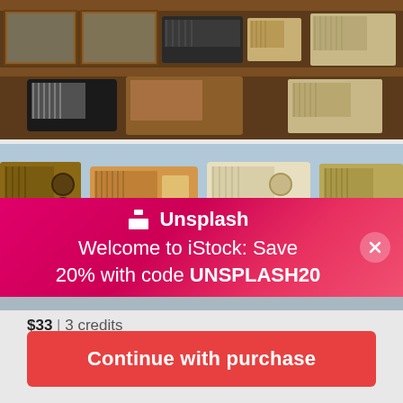[Figure (photo): Collection of vintage antique radios displayed on wooden shelves, upper image]
[Figure (photo): Collection of vintage retro radios lined up on shelves, lower image with Unsplash/iStock promotional banner overlay]
$33 | 3 credits
Continue with purchase